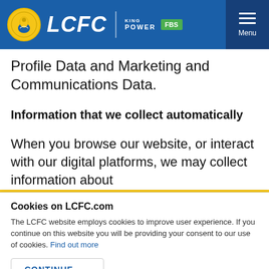LCFC | KING POWER FBS | Menu
Profile Data and Marketing and Communications Data.
Information that we collect automatically
When you browse our website, or interact with our digital platforms, we may collect information about
Cookies on LCFC.com
The LCFC website employs cookies to improve user experience. If you continue on this website you will be providing your consent to our use of cookies. Find out more
CONTINUE →